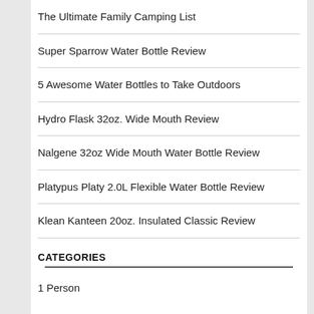The Ultimate Family Camping List
Super Sparrow Water Bottle Review
5 Awesome Water Bottles to Take Outdoors
Hydro Flask 32oz. Wide Mouth Review
Nalgene 32oz Wide Mouth Water Bottle Review
Platypus Platy 2.0L Flexible Water Bottle Review
Klean Kanteen 20oz. Insulated Classic Review
CATEGORIES
1 Person